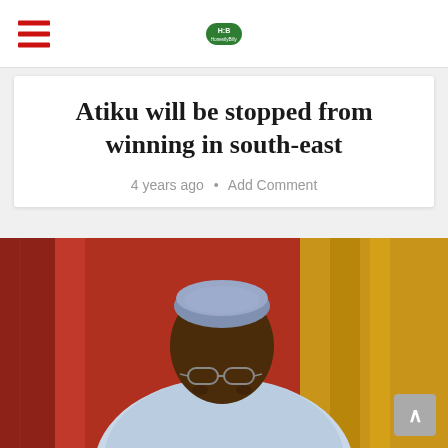HonestlyBilly - navigation header with hamburger menu and logo
Atiku will be stopped from winning in south-east
4 years ago • Add Comment
[Figure (photo): Photo of Atiku Abubakar, a man wearing a blue and white patterned traditional Nigerian outfit (agbada) and a blue kufi cap, with glasses, seated in front of red/orange curtains or fabric backdrop.]